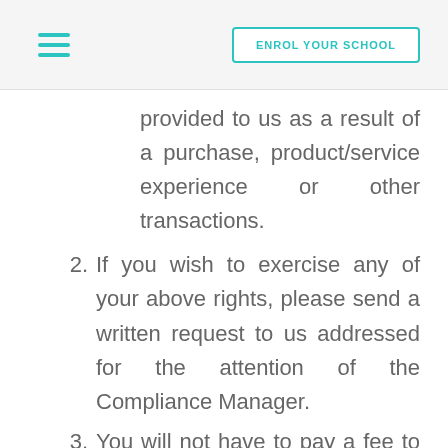ENROL YOUR SCHOOL
provided to us as a result of a purchase, product/service experience or other transactions.
2. If you wish to exercise any of your above rights, please send a written request to us addressed for the attention of the Compliance Manager.
3. You will not have to pay a fee to access your personal data